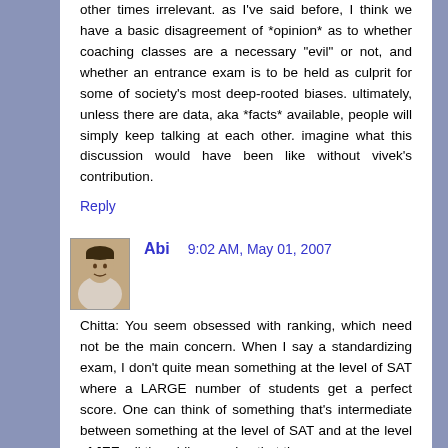other times irrelevant. as I've said before, I think we have a basic disagreement of *opinion* as to whether coaching classes are a necessary "evil" or not, and whether an entrance exam is to be held as culprit for some of society's most deep-rooted biases. ultimately, unless there are data, aka *facts* available, people will simply keep talking at each other. imagine what this discussion would have been like without vivek's contribution.
Reply
Abi   9:02 AM, May 01, 2007
Chitta: You seem obsessed with ranking, which need not be the main concern. When I say a standardizing exam, I don't quite mean something at the level of SAT where a LARGE number of students get a perfect score. One can think of something that's intermediate between something at the level of SAT and at the level of JEE, all the while ensuring that the